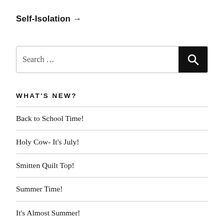Self-Isolation →
[Figure (other): Search input box with magnifying glass button]
WHAT'S NEW?
Back to School Time!
Holy Cow- It's July!
Smitten Quilt Top!
Summer Time!
It's Almost Summer!